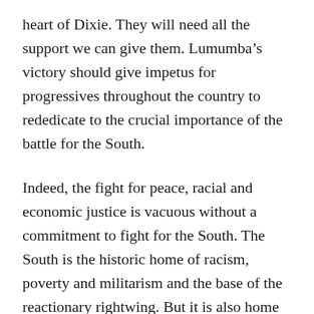heart of Dixie. They will need all the support we can give them. Lumumba's victory should give impetus for progressives throughout the country to rededicate to the crucial importance of the battle for the South.
Indeed, the fight for peace, racial and economic justice is vacuous without a commitment to fight for the South. The South is the historic home of racism, poverty and militarism and the base of the reactionary rightwing. But it is also home to a growing majority of African Americans and rapid demographic and social change that, despite outward appearances, is undermining white solidarity state by state at different paces.